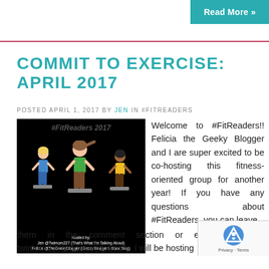Read More »
COMMIT TO EXERCISE: APRIL 2017
POSTED APRIL 1, 2017 BY JEN IN #FITREADERS
[Figure (illustration): FitReaders 2017 promotional image showing three cartoon women exercising on step platforms. Hosted by Jen @Twimom227 (That's What I'm Talking About) and Felicia @TheGeekyBlogger (Geeky Bloggers Book Blog).]
Welcome to #FitReaders!! Felicia the Geeky Blogger and I are super excited to be co-hosting this fitness-oriented group for another year! If you have any questions about #FitReaders, you can leave them in the comment section or email twimom227(at)gmail(dot)com. I will be hosting